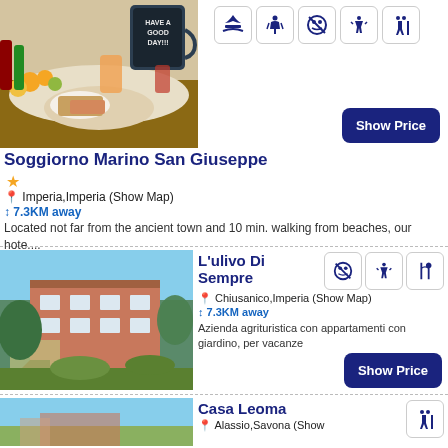[Figure (photo): Breakfast spread with fruits, bread, cold cuts on a table, blackboard mug in background]
[Figure (infographic): Five activity icons: sailing, hiking with poles, no-biking, kayaking/rowing, family]
Soggiorno Marino San Giuseppe
★
📍 Imperia,Imperia (Show Map)
↕ 7.3KM away
Located not far from the ancient town and 10 min. walking from beaches, our hote....
Show Price
[Figure (photo): Building exterior with terrace and garden, surrounded by trees]
L'ulivo Di Sempre
[Figure (infographic): Three activity icons: no-biking, kayaking/rowing, restaurant/dining]
📍 Chiusanico,Imperia (Show Map)
↕ 7.3KM away
Azienda agrituristica con appartamenti con giardino, per vacanze
Show Price
[Figure (photo): Partial view of building against blue sky]
Casa Leoma
[Figure (infographic): One activity icon: family]
📍 Alassio,Savona (Show